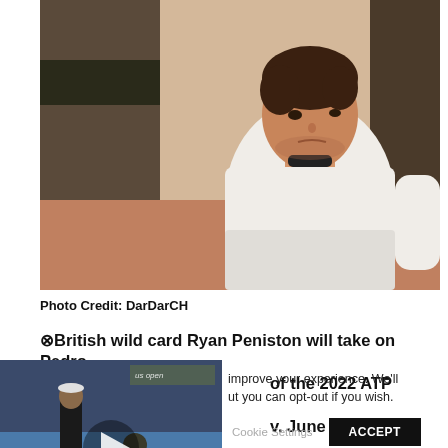[Figure (photo): Tennis player (Ryan Peniston) in white shirt on clay court, shown from shoulders up, looking to the right. Background shows court wall with dark stripe.]
Photo Credit: DarDarCH
⊗British wild card Ryan Peniston will take on Pedro of the 2022 ATP Eastbourne v. June 22. Get the live
[Figure (screenshot): Video thumbnail showing tennis players on court (US Open), with a play button overlay. Shows two people near the net area.]
improve your experience. We'll ut you can opt-out if you wish.
Cookie Settings   ACCEPT